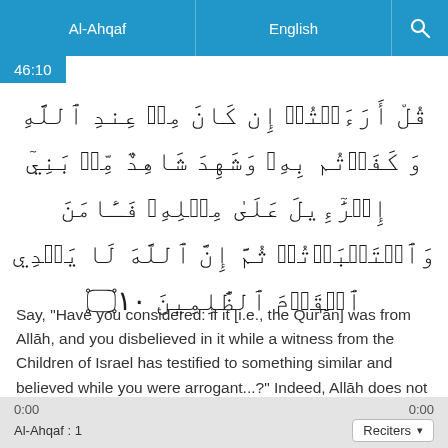Al-Ahqaf | English
46:10
قُلْ أَرَءَيۡتُمۡ إِن كَانَ مِنۡ عِندِ ٱللَّهِ وَ كَفَرۡتُم بِهِۦ وَشَهِدَ شَاهِدٌ مِّنۢ بَنِيٓ إِسۡرَٰٓءِيلَ عَلَىٰ مِثۡلِهِۦ فَـَٔامَنَ وَٱسۡتَكۡبَرۡتُمۡ إِنَّ ٱللَّهَ لَا يَهۡدِي ٱلۡقَوۡمَ ٱلظَّٰلِمِينَ
Say, "Have you considered: if it [i.e., the Qur'ān] was from Allāh, and you disbelieved in it while a witness from the Children of Israel has testified to something similar and believed while you were arrogant...?" Indeed, Allāh does not guide the wrongdoing people.
0:00   0:00   Al-Ahqaf : 1   Reciters